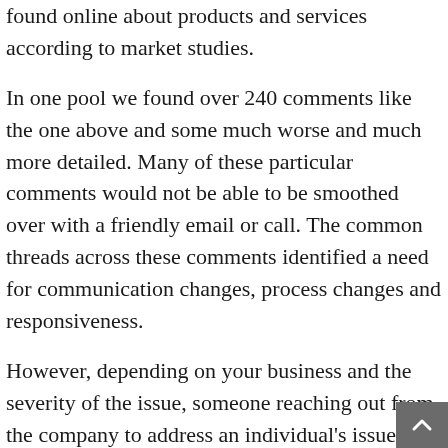found online about products and services according to market studies.
In one pool we found over 240 comments like the one above and some much worse and much more detailed. Many of these particular comments would not be able to be smoothed over with a friendly email or call. The common threads across these comments identified a need for communication changes, process changes and responsiveness.
However, depending on your business and the severity of the issue, someone reaching out from the company to address an individual's issue, listen to them, provide a reason and a solution may ve